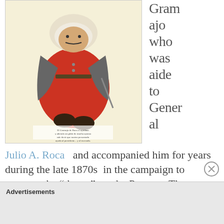[Figure (illustration): Caricature illustration of El Gramajo de Roca, a rotund military figure dressed in red baggy trousers, grey coat and white head covering, with a caption in Spanish at the bottom of the image.]
Gramajo who was aide to General
Julio A. Roca and accompanied him for years during the late 1870s in the campaign to conquer the “desert”, or the Pampas. The colonel, a roly-poly
Advertisements